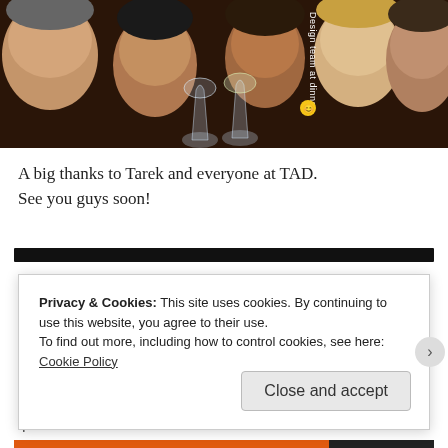[Figure (photo): Group photo of people (design team) at a dinner, with wine glasses in foreground. A vertical text label reads 'Design team at dinner.' with a smiley emoji circle.]
A big thanks to Tarek and everyone at TAD.
See you guys soon!
Privacy & Cookies: This site uses cookies. By continuing to use this website, you agree to their use.
To find out more, including how to control cookies, see here: Cookie Policy
Close and accept